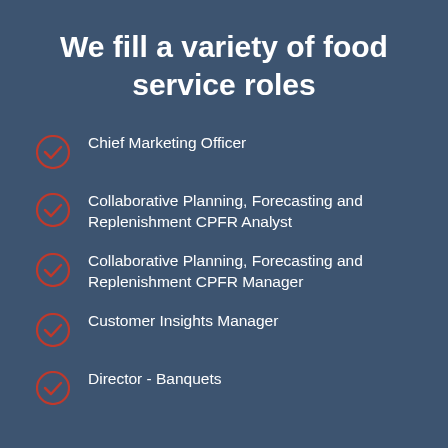We fill a variety of food service roles
Chief Marketing Officer
Collaborative Planning, Forecasting and Replenishment CPFR Analyst
Collaborative Planning, Forecasting and Replenishment CPFR Manager
Customer Insights Manager
Director - Banquets